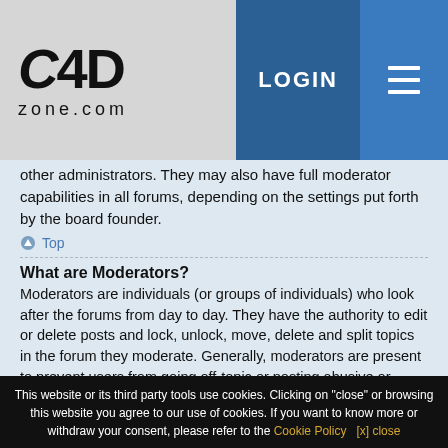C4D zone.com — LOGIN
other administrators. They may also have full moderator capabilities in all forums, depending on the settings put forth by the board founder.
Top
What are Moderators?
Moderators are individuals (or groups of individuals) who look after the forums from day to day. They have the authority to edit or delete posts and lock, unlock, move, delete and split topics in the forum they moderate. Generally, moderators are present to prevent users from going off-topic or posting abusive or offensive material.
Top
This website or its third party tools use cookies. Clicking on "close" or browsing this website you agree to our use of cookies. If you want to know more or withdraw your consent, please refer to the Cookie Policy   [x] close